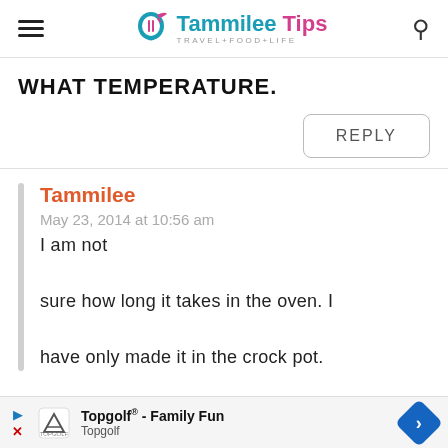Tammilee Tips TRAVEL+FOOD+LIFE
WHAT TEMPERATURE.
REPLY
Tammilee
May 23, 2014 at 10:56 am
I am not sure how long it takes in the oven. I have only made it in the crock pot.
[Figure (other): Topgolf advertisement banner showing Topgolf logo and text 'Topgolf® - Family Fun Topgolf' with a blue directional arrow icon]